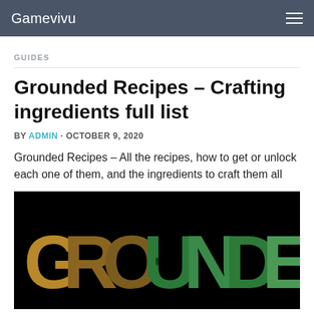Gamevivu
GUIDES
Grounded Recipes – Crafting ingredients full list
BY ADMIN · OCTOBER 9, 2020
Grounded Recipes – All the recipes, how to get or unlock each one of them, and the ingredients to craft them all
[Figure (photo): Grounded game logo on black background — large text reading GROUNDED with nature imagery inside the letters including soil, rocks, and green plants]